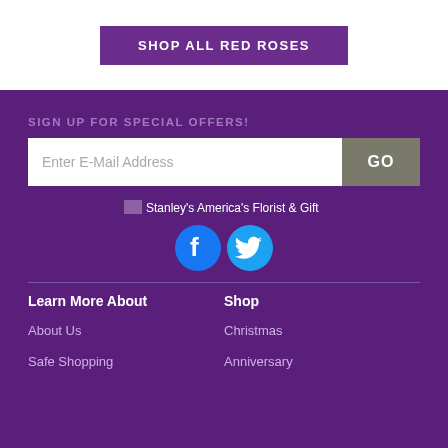SHOP ALL RED ROSES
SIGN UP FOR SPECIAL OFFERS!
Enter E-Mail Address
GO
[Figure (logo): Stanley's America's Florist & Gift logo text]
[Figure (illustration): Facebook and Twitter social media icons]
Learn More About
Shop
About Us
Christmas
Safe Shopping
Anniversary